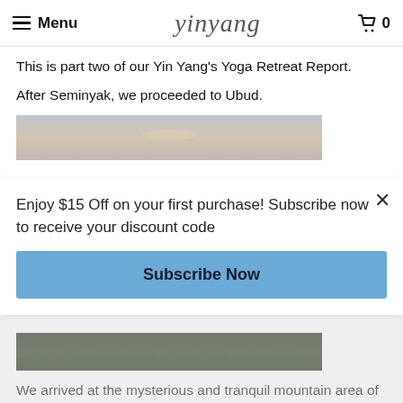Menu | yinyang | 0
This is part two of our Yin Yang's Yoga Retreat Report.
After Seminyak, we proceeded to Ubud.
[Figure (photo): Sky/landscape photo, hazy light sky tones]
Enjoy $15 Off on your first purchase! Subscribe now to receive your discount code
Subscribe Now
[Figure (photo): Dark jungle/mountain area photo with dense trees at night]
We arrived at the mysterious and tranquil mountain area of Ubud after an hour drive from the Seminyak beach resort. We